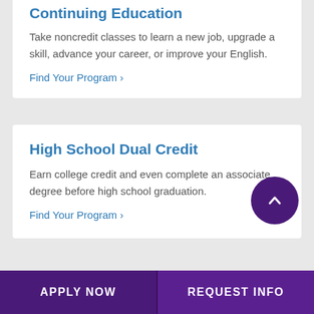Continuing Education
Take noncredit classes to learn a new job, upgrade a skill, advance your career, or improve your English.
Find Your Program ›
High School Dual Credit
Earn college credit and even complete an associate degree before high school graduation.
Find Your Program ›
Adult Education
APPLY NOW
REQUEST INFO